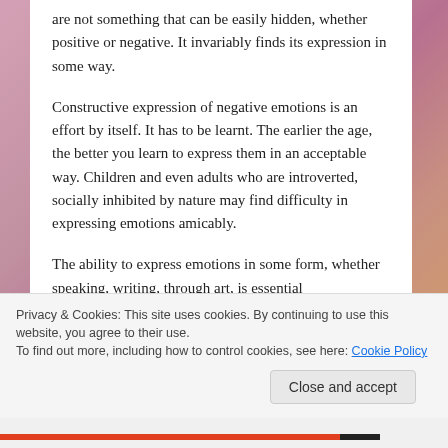are not something that can be easily hidden, whether positive or negative. It invariably finds its expression in some way.
Constructive expression of negative emotions is an effort by itself. It has to be learnt. The earlier the age, the better you learn to express them in an acceptable way. Children and even adults who are introverted, socially inhibited by nature may find difficulty in expressing emotions amicably.
The ability to express emotions in some form, whether speaking, writing, through art, is essential
Privacy & Cookies: This site uses cookies. By continuing to use this website, you agree to their use.
To find out more, including how to control cookies, see here: Cookie Policy